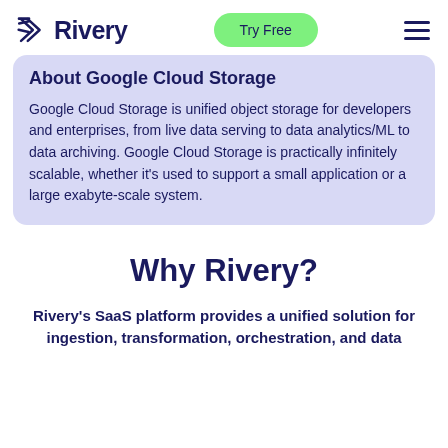Rivery | Try Free
About Google Cloud Storage
Google Cloud Storage is unified object storage for developers and enterprises, from live data serving to data analytics/ML to data archiving. Google Cloud Storage is practically infinitely scalable, whether it's used to support a small application or a large exabyte-scale system.
Why Rivery?
Rivery's SaaS platform provides a unified solution for ingestion, transformation, orchestration, and data